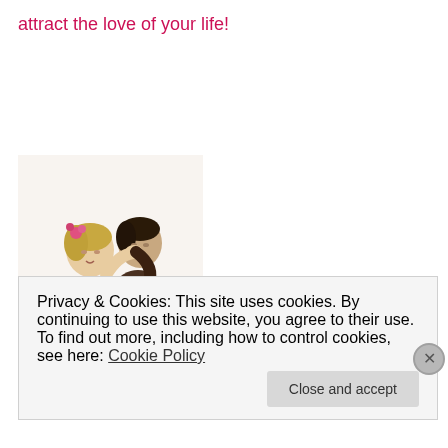attract the love of your life!
[Figure (photo): Vintage colorized photo of a dancing couple: a woman in a pink and green dress with pink flowers in her hair, and a man in a dark suit with bow tie, dancing together.]
Privacy & Cookies: This site uses cookies. By continuing to use this website, you agree to their use.
To find out more, including how to control cookies, see here: Cookie Policy
Close and accept